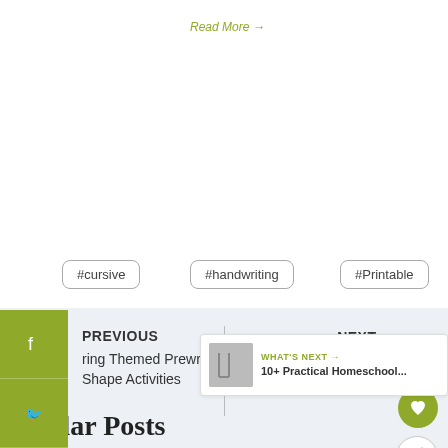Read More →
#cursive
#handwriting
#Printable
[Figure (other): Social sharing sidebar with Facebook, Twitter, and Pinterest icons on olive/green background]
PREVIOUS
ring Themed Prewriting and Shape Activities
NEXT →
Picture Books about Birds
[Figure (other): Heart/favorite button circle in olive green]
[Figure (other): Share button circle in white]
[Figure (other): What's Next box with thumbnail image of practical homeschool content]
Similar Posts